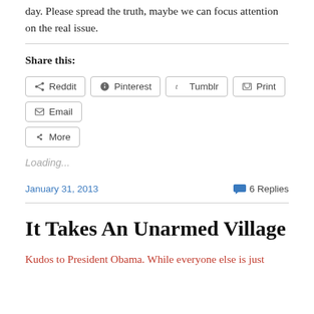day. Please spread the truth, maybe we can focus attention on the real issue.
Share this:
[Figure (screenshot): Share buttons row: Reddit, Pinterest, Tumblr, Print, Email, and More]
Loading...
January 31, 2013
6 Replies
It Takes An Unarmed Village
Kudos to President Obama. While everyone else is just